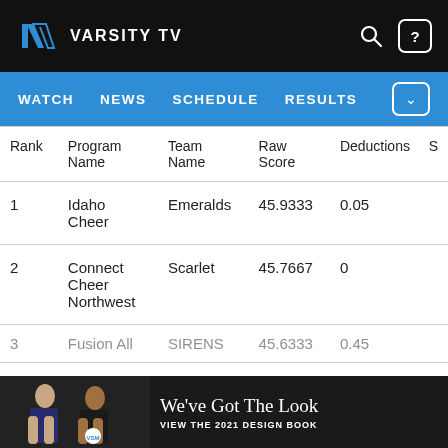VARSITY TV — WATCH | NEWS | SCHEDULE | RESULTS
| Rank | Program Name | Team Name | Raw Score | Deductions | S |
| --- | --- | --- | --- | --- | --- |
| 1 | Idaho Cheer | Emeralds | 45.9333 | 0.05 |  |
| 2 | Connect Cheer Northwest | Scarlet | 45.7667 | 0 |  |
| 3 | Fusion All | SIRENS | 45.6333 | 0.45 |  |
[Figure (photo): Ad banner: two cheerleaders with text 'We've Got The Look — VIEW THE 2021 DESIGN BOOK']